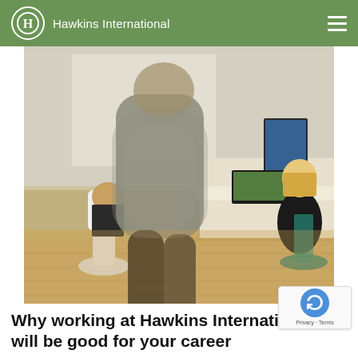Hawkins International
[Figure (photo): Motion-blurred office scene showing a person walking briskly through an open-plan office with hardwood floors. In the background, two women sit at desks with computers and laptops. White ergonomic chairs on casters are visible throughout.]
Why working at Hawkins International will be good for your career